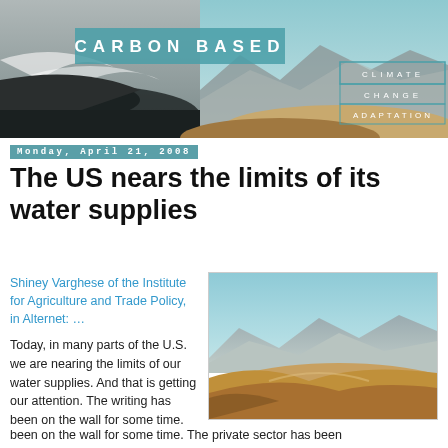[Figure (illustration): Carbon Based Climate Change Adaptation blog banner with ocean wave on left and desert/mountains on right, with text overlay]
Monday, April 21, 2008
The US nears the limits of its water supplies
Shiney Varghese of the Institute for Agriculture and Trade Policy, in Alternet: …
[Figure (photo): Desert landscape with sand dunes and mountains in background under blue sky]
Today, in many parts of the U.S. we are nearing the limits of our water supplies. And that is getting our attention. The writing has been on the wall for some time. The private sector has been